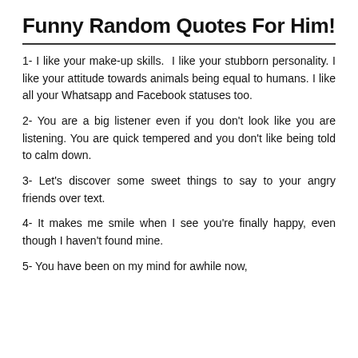Funny Random Quotes For Him!
1- I like your make-up skills.  I like your stubborn personality. I like your attitude towards animals being equal to humans. I like all your Whatsapp and Facebook statuses too.
2- You are a big listener even if you don't look like you are listening. You are quick tempered and you don't like being told to calm down.
3- Let's discover some sweet things to say to your angry friends over text.
4- It makes me smile when I see you're finally happy, even though I haven't found mine.
5- You have been on my mind for awhile now,